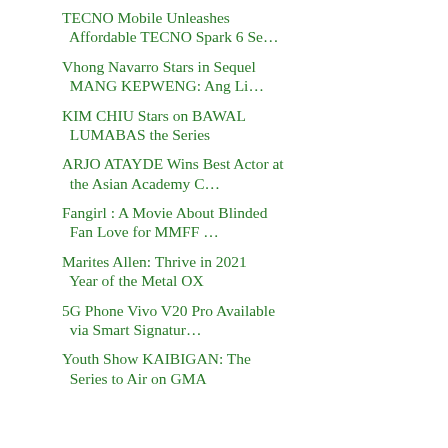TECNO Mobile Unleashes Affordable TECNO Spark 6 Se…
Vhong Navarro Stars in Sequel MANG KEPWENG: Ang Li…
KIM CHIU Stars on BAWAL LUMABAS the Series
ARJO ATAYDE Wins Best Actor at the Asian Academy C…
Fangirl : A Movie About Blinded Fan Love for MMFF …
Marites Allen: Thrive in 2021 Year of the Metal OX
5G Phone Vivo V20 Pro Available via Smart Signatur…
Youth Show KAIBIGAN: The Series to Air on GMA